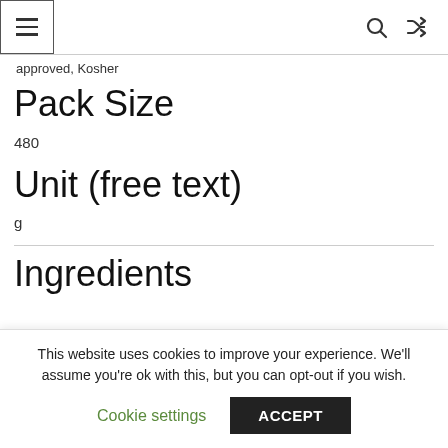approved, Kosher
Pack Size
480
Unit (free text)
g
Ingredients
This website uses cookies to improve your experience. We'll assume you're ok with this, but you can opt-out if you wish.
Cookie settings
ACCEPT